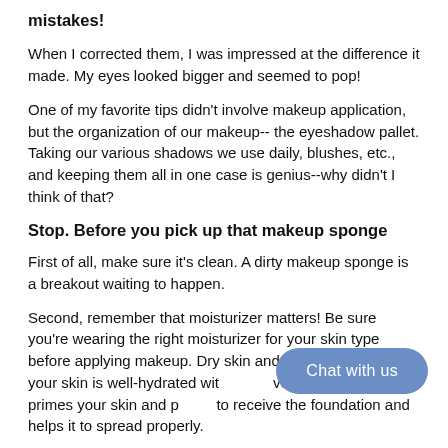mistakes!
When I corrected them, I was impressed at the difference it made. My eyes looked bigger and seemed to pop!
One of my favorite tips didn't involve makeup application, but the organization of our makeup-- the eyeshadow pallet. Taking our various shadows we use daily, blushes, etc., and keeping them all in one case is genius--why didn't I think of that?
Stop. Before you pick up that makeup sponge
First of all, make sure it's clean. A dirty makeup sponge is a breakout waiting to happen.
Second, remember that moisturizer matters! Be sure you're wearing the right moisturizer for your skin type before applying makeup. Dry skin and [Chat with us overlay] mix. Be sure your skin is well-hydrated with [overlay] ve day moisturizer. It primes your skin and prepares it to receive the foundation and helps it to spread properly.